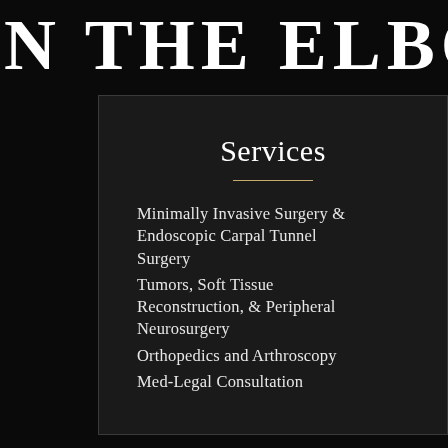N THE ELBOW
Services
Minimally Invasive Surgery & Endoscopic Carpal Tunnel Surgery
Tumors, Soft Tissue Reconstruction, & Peripheral Neurosurgery
Orthopedics and Arthroscopy
Med-Legal Consultation